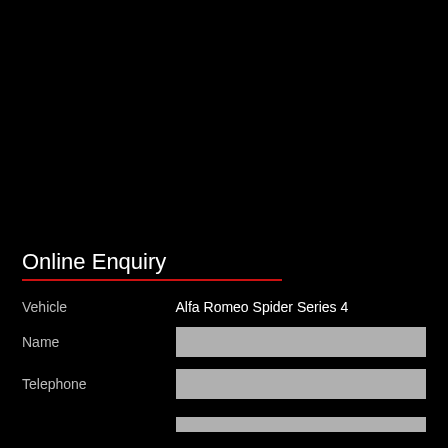Online Enquiry
| Field | Value |
| --- | --- |
| Vehicle | Alfa Romeo Spider Series 4 |
| Name |  |
| Telephone |  |